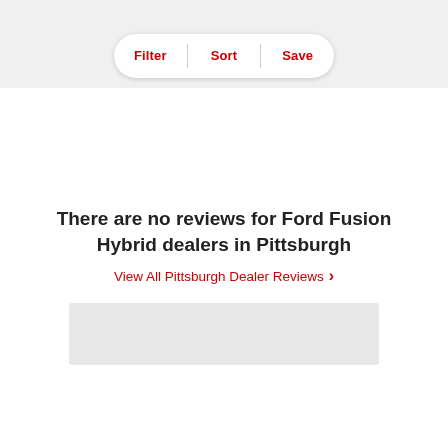[Figure (screenshot): Top navigation bar with Filter, Sort, Save buttons in a pill-shaped container on a light gray background]
There are no reviews for Ford Fusion Hybrid dealers in Pittsburgh
View All Pittsburgh Dealer Reviews >
[Figure (screenshot): Gray map placeholder box at the bottom of the page]